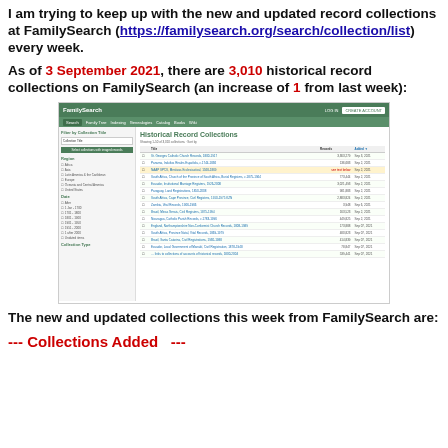I am trying to keep up with the new and updated record collections at FamilySearch (https://familysearch.org/search/collection/list) every week.
As of 3 September 2021, there are 3,010 historical record collections on FamilySearch (an increase of 1 from last week):
[Figure (screenshot): Screenshot of the FamilySearch Historical Record Collections page showing a list of collections with titles, record counts, and dates.]
The new and updated collections this week from FamilySearch are:
--- Collections Added   ---